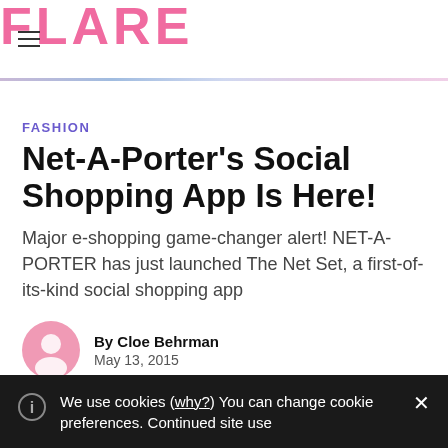FLARE
FASHION
Net-A-Porter's Social Shopping App Is Here!
Major e-shopping game-changer alert! NET-A-PORTER has just launched The Net Set, a first-of-its-kind social shopping app
By Cloe Behrman
May 13, 2015
We use cookies (why?) You can change cookie preferences. Continued site use